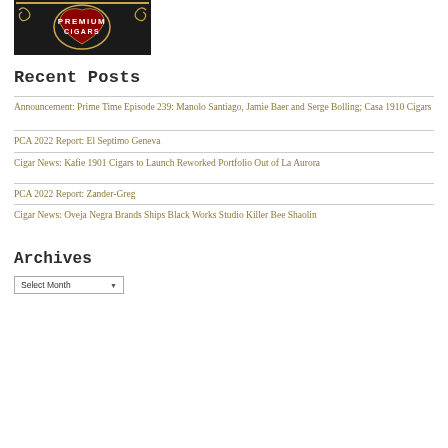[Figure (logo): Premium Cigars logo with red heart and gold decorative elements on dark background]
Recent Posts
Announcement: Prime Time Episode 239: Manolo Santiago, Jamie Baer and Serge Bolling; Casa 1910 Cigars
PCA 2022 Report: El Septimo Geneva
Cigar News: Kafie 1901 Cigars to Launch Reworked Portfolio Out of La Aurora
PCA 2022 Report: Zander-Greg
Cigar News: Oveja Negra Brands Ships Black Works Studio Killer Bee Shaolin
Archives
Select Month